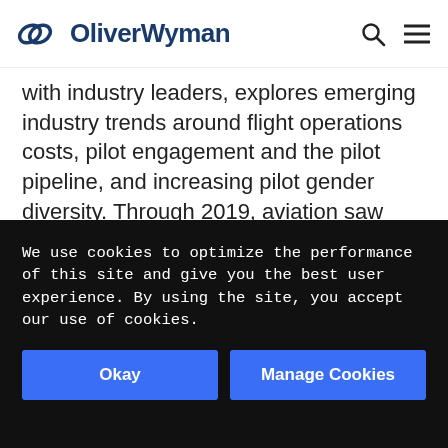OliverWyman
with industry leaders, explores emerging industry trends around flight operations costs, pilot engagement and the pilot pipeline, and increasing pilot gender diversity. Through 2019, aviation saw tremendous growth, with 10 consecutive years of industry profitability. The current public health crisis and its economic fallout, together with other headwinds, such as increased regulatory oversight and concerns about air travel's environmental impacts, raise questions about what the next decade
We use cookies to optimize the performance of this site and give you the best user experience. By using the site, you accept our use of cookies.
Okay
Manage Cookies